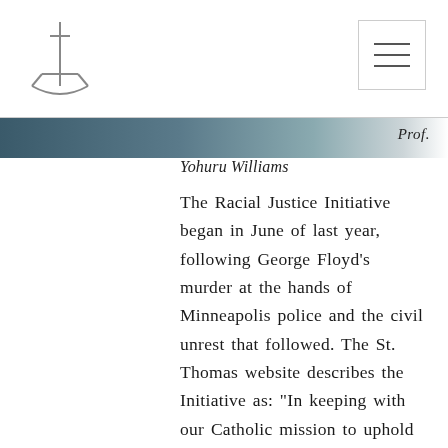[Figure (logo): University logo: small sailboat with cross mast, sketch style]
[Figure (other): Menu/hamburger icon in top right corner, three horizontal lines in a bordered box]
[Figure (photo): Partial image strip showing a cropped photo, partially visible at top of content area]
Prof. Yohuru Williams
The Racial Justice Initiative began in June of last year, following George Floyd’s murder at the hands of Minneapolis police and the civil unrest that followed. The St. Thomas website describes the Initiative as: “In keeping with our Catholic mission to uphold the dignity of every human person and to advance the common good.”